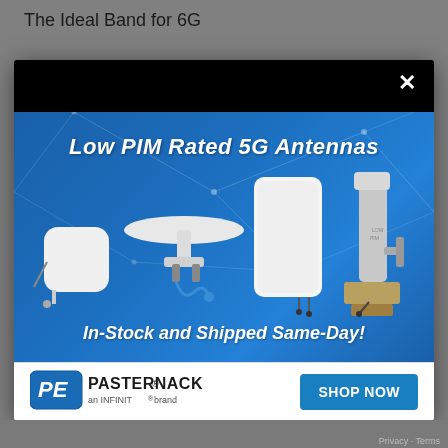The Ideal Band for 6G
[Figure (screenshot): Modal advertisement popup for Pasternack Low PIM Rated 5G Antennas. Blue gradient background with geometric network lines. Shows multiple antenna products. Text: 'Low PIM Rated 5G Antennas' and 'In-Stock and Shipped Same-Day!']
Low PIM Rated 5G Antennas
In-Stock and Shipped Same-Day!
[Figure (logo): Pasternack logo with PE shield emblem and text 'PASTERNACK® an INFINIT® brand']
SHOP NOW